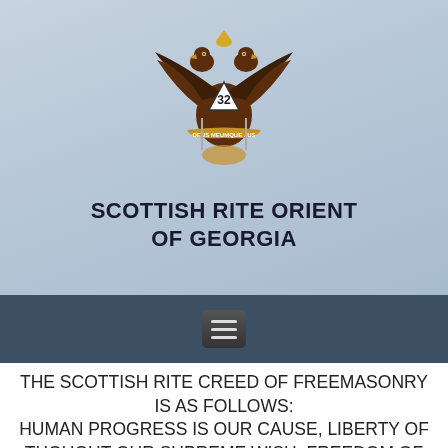[Figure (logo): Scottish Rite double-headed eagle emblem with triangle bearing number 32, decorative swords and wreath below]
SCOTTISH RITE ORIENT OF GEORGIA
[Figure (other): Dark steel-blue navigation bar with a hamburger menu icon (three horizontal lines) centered]
THE SCOTTISH RITE CREED OF FREEMASONRY IS AS FOLLOWS: HUMAN PROGRESS IS OUR CAUSE, LIBERTY OF THOUGHT OUR SUPREME WISH, FREEDOM OF CONSCIENCE OUR MISSION